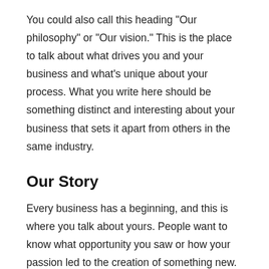You could also call this heading "Our philosophy" or "Our vision." This is the place to talk about what drives you and your business and what's unique about your process. What you write here should be something distinct and interesting about your business that sets it apart from others in the same industry.
Our Story
Every business has a beginning, and this is where you talk about yours. People want to know what opportunity you saw or how your passion led to the creation of something new. Talk about your roots-- people wanna know you have some.